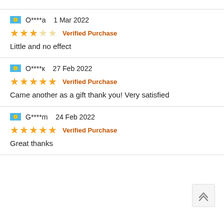O****a  1 Mar 2022
★★★☆☆  Verified Purchase
Little and no effect
O****к  27 Feb 2022
★★★★★  Verified Purchase
Came another as a gift thank you! Very satisfied
G****m  24 Feb 2022
★★★★★  Verified Purchase
Great thanks